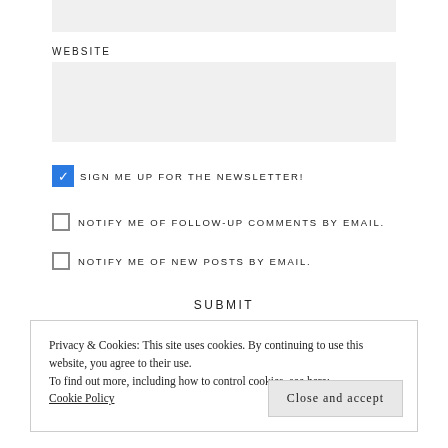WEBSITE
SIGN ME UP FOR THE NEWSLETTER!
NOTIFY ME OF FOLLOW-UP COMMENTS BY EMAIL.
NOTIFY ME OF NEW POSTS BY EMAIL.
SUBMIT
Privacy & Cookies: This site uses cookies. By continuing to use this website, you agree to their use. To find out more, including how to control cookies, see here: Cookie Policy
Close and accept